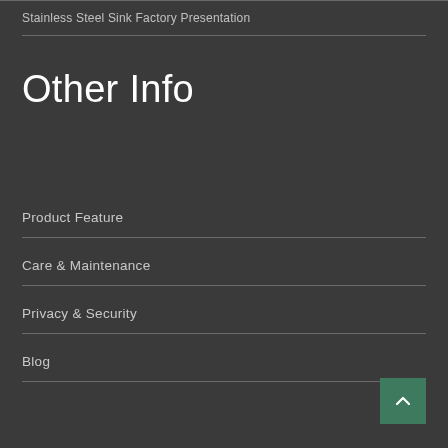Stainless Steel Sink Factory Presentation
Other Info
Product Feature
Care & Maintenance
Privacy & Security
Blog